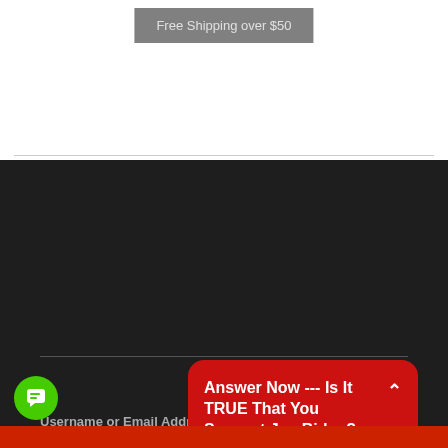[Figure (screenshot): Gray button with text 'Free Shipping over $50' on white background]
Username or Email Address
[Figure (screenshot): White input field for username or email address]
Password
[Figure (screenshot): White input field for password]
Remember
[Figure (screenshot): Red popup overlay reading: Answer Now --- Is It TRUE That You Support Joe Biden?]